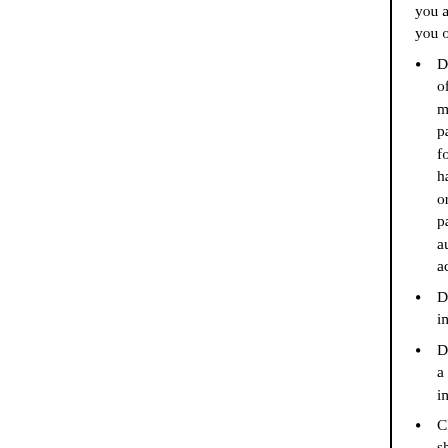you are under the age of 18. This can open the door you open the door for!
Do not use your Thunderstar account for the purpose off the Internet. Such action is Illegal not only in most other Countries of the world. We report such particulars. Also such accounts are subject to immediate for lost acquaintances, or of a relative or friend harmful intent are not restricted. And where action or licensed legal authority it is to be done only with particular rule is unconditional for the protection authorization for such activities is at the discretion adjudication.
Do not use any Thunderstar connection or server information that could lead to a violent or illegal
Do not pretend to be, impersonate, or tell anyone a different age or sex other than who you are for individual on a chat line, E-mail, net pager or an
Children and teens are to be supervised when accessing should "street proof" or "Net proof" their children unwanted person or user, much in the same way park. Obviously this is at the discretion of the parent aware of and prepare the child for. Parents who the law and this also applies online so we add it supervision, starting with laying down of rules and when violated is always a wise idea and though agree to do so in a manner THEY see fit. It is, in the law of the land and the Thunderstar user account
Should it occur to a user to do so, do not engage online or electronic activity in a sexual, erotic fashion